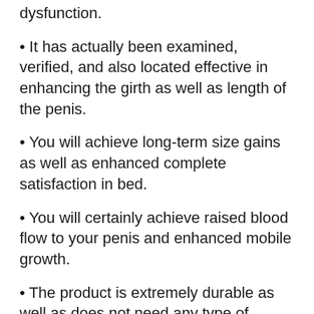dysfunction.
• It has actually been examined, verified, and also located effective in enhancing the girth as well as length of the penis.
• You will achieve long-term size gains as well as enhanced complete satisfaction in bed.
• You will certainly achieve raised blood flow to your penis and enhanced mobile growth.
• The product is extremely durable as well as does not need any type of maintenance.
• The item is designed to decrease slippage and also handle tension because of having a